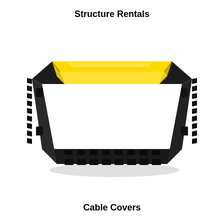Structure Rentals
[Figure (illustration): A cable ramp/cover product shown in perspective view. The unit has a black rubber base with interlocking teeth on the sides and front, and a yellow top lid covering cable channels. The shape is a flat ramp-style cover, wider in the middle with connector tabs on the sides.]
Cable Covers